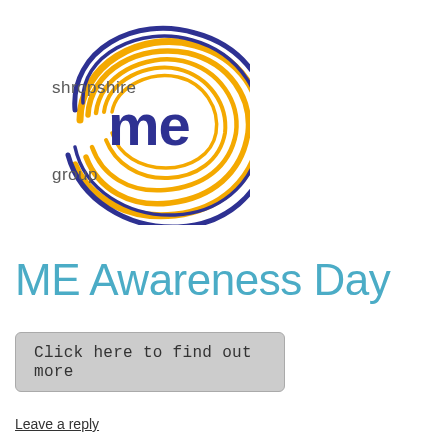[Figure (logo): Shropshire ME Group logo with circular swirl design in gold/orange and dark blue/purple, with text 'shropshire' above 'me' in large bold dark blue letters, and 'group' below, surrounded by concentric arc shapes in gold and blue.]
ME Awareness Day
Click here to find out more
Leave a reply